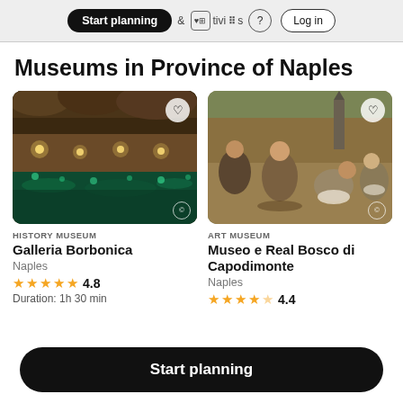Start planning  &  Activities  (?)  Log in
Museums in Province of Naples
[Figure (screenshot): Photo of Galleria Borbonica underground cistern with green illuminated water and stone walls]
HISTORY MUSEUM
Galleria Borbonica
Naples
4.8
Duration: 1h 30 min
[Figure (screenshot): Photo of Bruegel painting at Museo e Real Bosco di Capodimonte showing figures in a field]
ART MUSEUM
Museo e Real Bosco di Capodimonte
Naples
4.4
Start planning